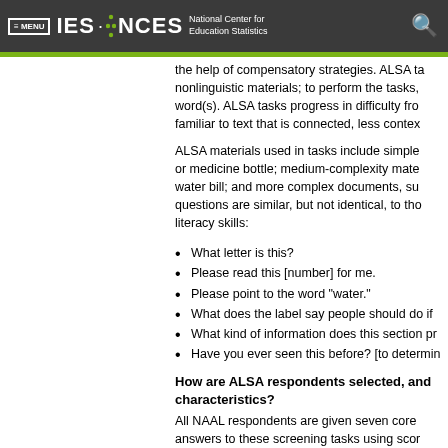≡ MENU  IES · NCES  National Center for Education Statistics
the help of compensatory strategies. ALSA tasks use nonlinguistic materials; to perform the tasks, word(s). ALSA tasks progress in difficulty from familiar to text that is connected, less context
ALSA materials used in tasks include simple or medicine bottle; medium-complexity materials, water bill; and more complex documents, su questions are similar, but not identical, to those literacy skills:
What letter is this?
Please read this [number] for me.
Please point to the word "water."
What does the label say people should do if
What kind of information does this section pr
Have you ever seen this before? [to determin
How are ALSA respondents selected, and characteristics?
All NAAL respondents are given seven core answers to these screening tasks using scor participants are selected by computer, based